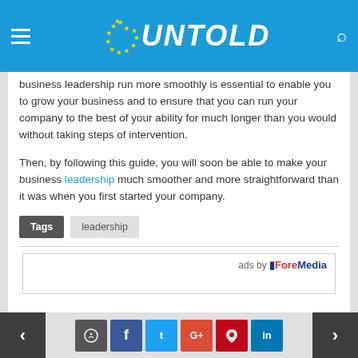UNTOLD
business leadership run more smoothly is essential to enable you to grow your business and to ensure that you can run your company to the best of your ability for much longer than you would without taking steps of intervention.
Then, by following this guide, you will soon be able to make your business leadership much smoother and more straightforward than it was when you first started your company.
Tags  leadership
[Figure (other): Ads by ForeMedia advertisement box]
< comment f t G+ pin in >